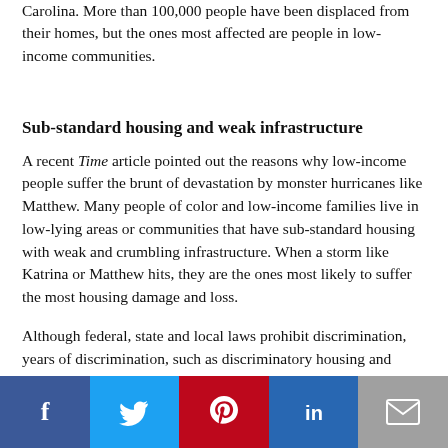Carolina. More than 100,000 people have been displaced from their homes, but the ones most affected are people in low-income communities.
Sub-standard housing and weak infrastructure
A recent Time article pointed out the reasons why low-income people suffer the brunt of devastation by monster hurricanes like Matthew. Many people of color and low-income families live in low-lying areas or communities that have sub-standard housing with weak and crumbling infrastructure. When a storm like Katrina or Matthew hits, they are the ones most likely to suffer the most housing damage and loss.
Although federal, state and local laws prohibit discrimination, years of discrimination, such as discriminatory housing and racial steering have resulted in African Americans living in
[Figure (infographic): Social media sharing bar with Facebook, Twitter, Pinterest, LinkedIn, and Email buttons]